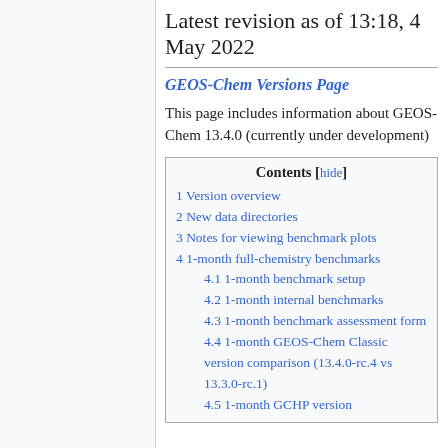Latest revision as of 13:18, 4 May 2022
GEOS-Chem Versions Page
This page includes information about GEOS-Chem 13.4.0 (currently under development)
| Contents |
| --- |
| 1 Version overview |
| 2 New data directories |
| 3 Notes for viewing benchmark plots |
| 4 1-month full-chemistry benchmarks |
| 4.1 1-month benchmark setup |
| 4.2 1-month internal benchmarks |
| 4.3 1-month benchmark assessment form |
| 4.4 1-month GEOS-Chem Classic version comparison (13.4.0-rc.4 vs 13.3.0-rc.1) |
| 4.5 1-month GCHP version |